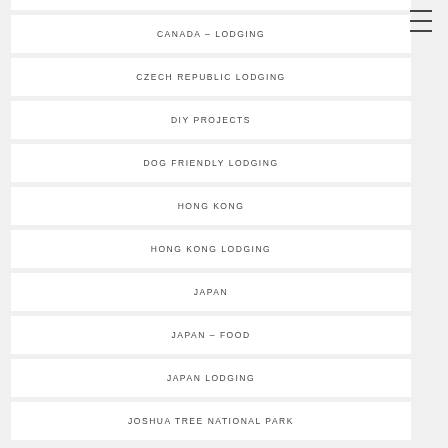CANADA – LODGING
CZECH REPUBLIC LODGING
DIY PROJECTS
DOG FRIENDLY LODGING
HONG KONG
HONG KONG LODGING
JAPAN
JAPAN – FOOD
JAPAN LODGING
JOSHUA TREE NATIONAL PARK